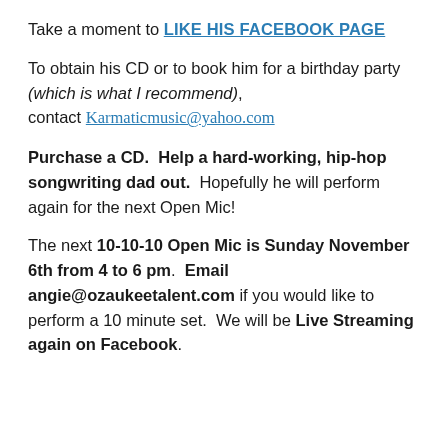Take a moment to LIKE HIS FACEBOOK PAGE
To obtain his CD or to book him for a birthday party (which is what I recommend), contact Karmaticmusic@yahoo.com
Purchase a CD.  Help a hard-working, hip-hop songwriting dad out.  Hopefully he will perform again for the next Open Mic!
The next 10-10-10 Open Mic is Sunday November 6th from 4 to 6 pm.  Email angie@ozaukeetalent.com if you would like to perform a 10 minute set.  We will be Live Streaming again on Facebook.